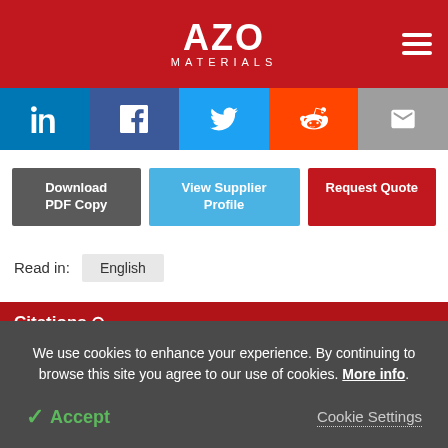AZO MATERIALS
[Figure (infographic): Social sharing buttons: LinkedIn, Facebook, Twitter, Reddit, Email]
Download PDF Copy | View Supplier Profile | Request Quote
Read in: English
Citations
We use cookies to enhance your experience. By continuing to browse this site you agree to our use of cookies. More info.
Accept | Cookie Settings